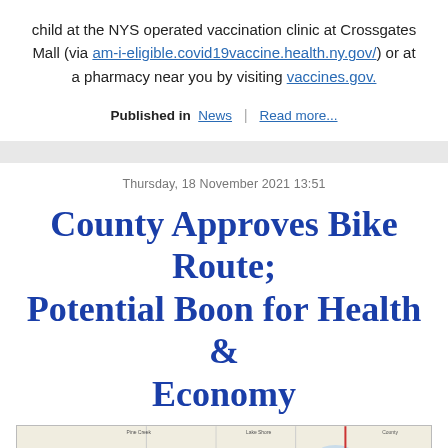child at the NYS operated vaccination clinic at Crossgates Mall (via am-i-eligible.covid19vaccine.health.ny.gov/) or at a pharmacy near you by visiting vaccines.gov.
Published in News | Read more...
Thursday, 18 November 2021 13:51
County Approves Bike Route; Potential Boon for Health & Economy
[Figure (map): A road map showing county roads and routes, including yellow highlighted route, blue water bodies, and red roads on the right side. The map appears to show Warren County and surrounding area.]